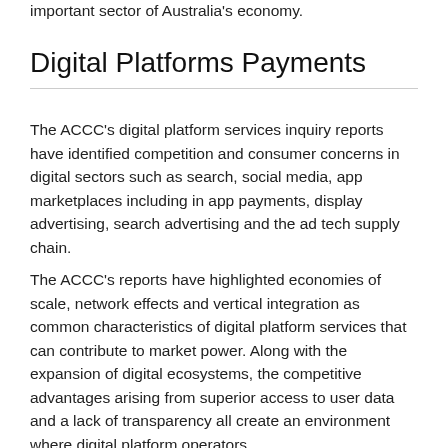important sector of Australia's economy.
Digital Platforms Payments
The ACCC's digital platform services inquiry reports have identified competition and consumer concerns in digital sectors such as search, social media, app marketplaces including in app payments, display advertising, search advertising and the ad tech supply chain.
The ACCC's reports have highlighted economies of scale, network effects and vertical integration as common characteristics of digital platform services that can contribute to market power. Along with the expansion of digital ecosystems, the competitive advantages arising from superior access to user data and a lack of transparency all create an environment where digital platform operators …